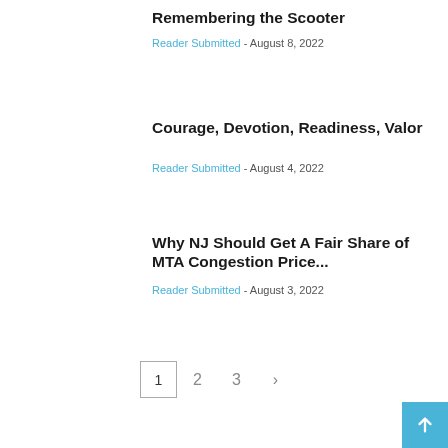Remembering the Scooter
Reader Submitted - August 8, 2022
Courage, Devotion, Readiness, Valor
Reader Submitted - August 4, 2022
Why NJ Should Get A Fair Share of MTA Congestion Price...
Reader Submitted - August 3, 2022
1 2 3 >